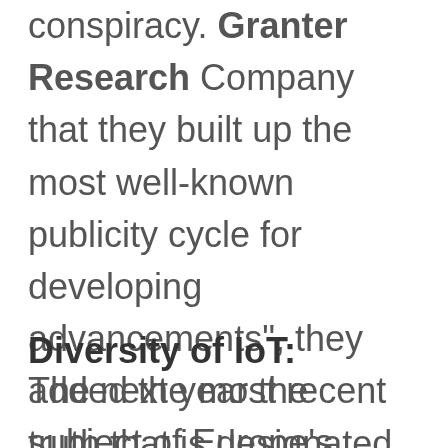conspiracy. Granter Research Company that they built up the most well-known publicity cycle for developing advancements", they added the most recent truth that is designated "Internet of Things".
Diversity of IoT:
The next year the subject of Europe's most noteworthy